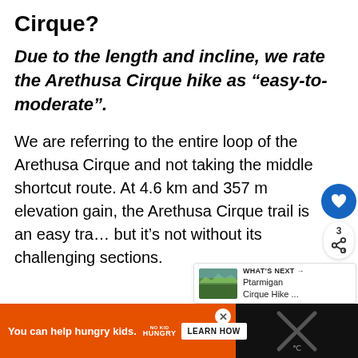Cirque?
Due to the length and incline, we rate the Arethusa Cirque hike as “easy-to-moderate”.
We are referring to the entire loop of the Arethusa Cirque and not taking the middle shortcut route. At 4.6 km and 357 m elevation gain, the Arethusa Cirque trail is an easy trail but it’s not without its challenging sections.
[Figure (screenshot): Floating UI buttons: heart/favorite button (blue circle, count 3) and share button]
[Figure (infographic): What's Next panel with thumbnail image of mountain scenery and text 'Ptarmigan Cirque Hike ...']
[Figure (infographic): Orange advertisement banner: 'You can help hungry kids.' with No Kid Hungry logo and Learn How button]